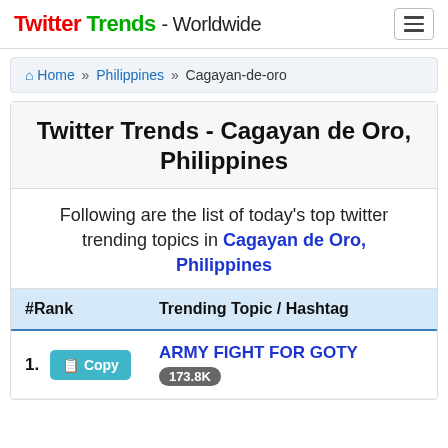Twitter Trends - Worldwide
Home » Philippines » Cagayan-de-oro
Twitter Trends - Cagayan de Oro, Philippines
Following are the list of today's top twitter trending topics in Cagayan de Oro, Philippines
| #Rank | Trending Topic / Hashtag |
| --- | --- |
| 1. | ARMY FIGHT FOR GOTY 173.8K |